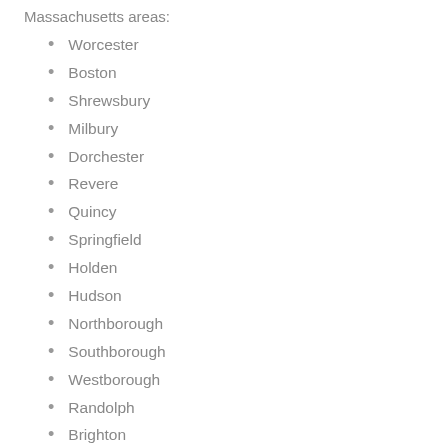Massachusetts areas:
Worcester
Boston
Shrewsbury
Milbury
Dorchester
Revere
Quincy
Springfield
Holden
Hudson
Northborough
Southborough
Westborough
Randolph
Brighton
Wellesley
Natick